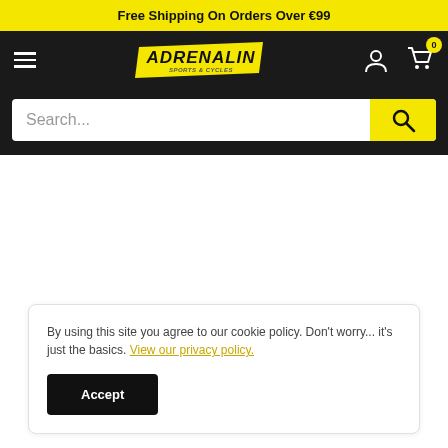Free Shipping On Orders Over €99
[Figure (logo): Adrenalin sports & cycles logo in yellow on dark background, with hamburger menu, account icon, and cart icon showing 0 items]
[Figure (screenshot): Search input field with placeholder 'Search...' and yellow search button]
By using this site you agree to our cookie policy. Don't worry... it's just the basics. View our privacy policy.
Accept